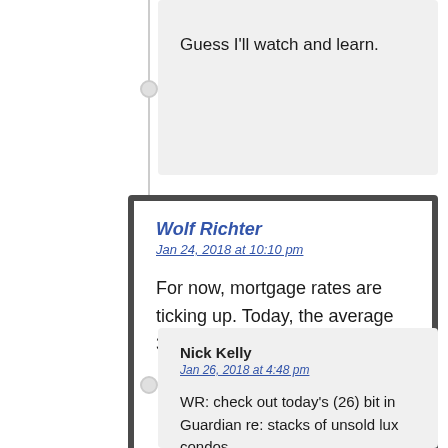Guess I'll watch and learn.
Wolf Richter
Jan 24, 2018 at 10:10 pm

For now, mortgage rates are ticking up. Today, the average 30-year fixed reached 4.27%.
Nick Kelly
Jan 26, 2018 at 4:48 pm

WR: check out today's (26) bit in Guardian re: stacks of unsold lux condos.